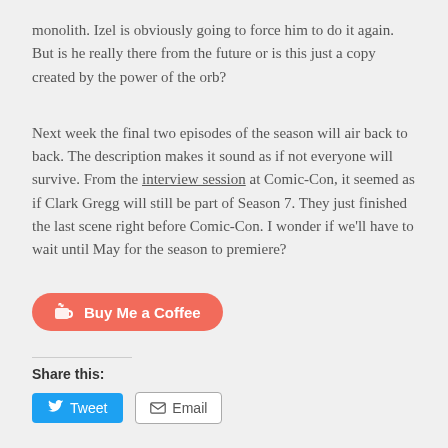monolith. Izel is obviously going to force him to do it again. But is he really there from the future or is this just a copy created by the power of the orb?
Next week the final two episodes of the season will air back to back. The description makes it sound as if not everyone will survive. From the interview session at Comic-Con, it seemed as if Clark Gregg will still be part of Season 7. They just finished the last scene right before Comic-Con. I wonder if we'll have to wait until May for the season to premiere?
[Figure (other): Buy Me a Coffee button — red/coral rounded button with coffee cup icon]
Share this:
[Figure (other): Tweet and Email share buttons]